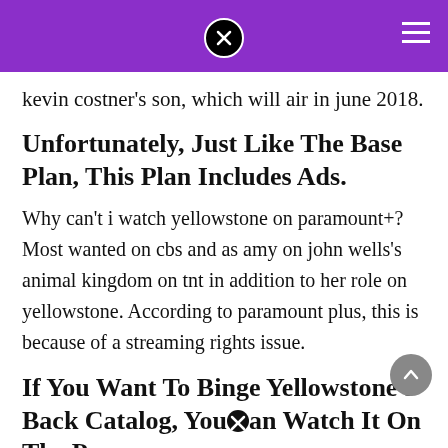kevin costner's son, which will air in june 2018.
Unfortunately, Just Like The Base Plan, This Plan Includes Ads.
Why can't i watch yellowstone on paramount+? Most wanted on cbs and as amy on john wells's animal kingdom on tnt in addition to her role on yellowstone. According to paramount plus, this is because of a streaming rights issue.
If You Want To Binge Yellowstone's Back Catalog, You Can Watch It On The Paramount+ Network (Of Mo...